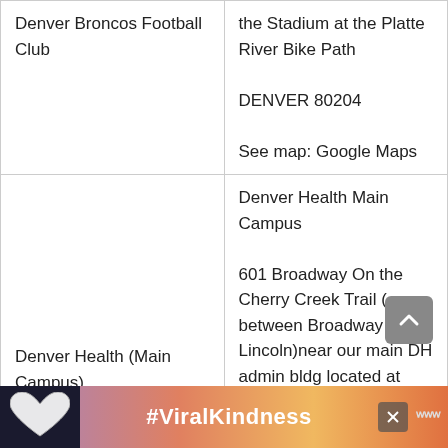| Location Name | Address / Details |
| --- | --- |
| Denver Broncos Football Club | the Stadium at the Platte River Bike Path

DENVER 80204

See map: Google Maps |
| Denver Health (Main Campus) | Denver Health Main Campus

601 Broadway On the Cherry Creek Trail ( between Broadway and Lincoln)near our main DH admin bldg located at 601 Broadway |
[Figure (other): Advertisement banner with #ViralKindness text, heart shape silhouette, sunset background, and logo.]